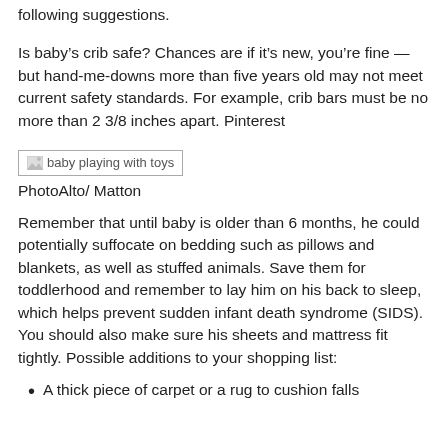following suggestions.
Is baby's crib safe? Chances are if it's new, you're fine — but hand-me-downs more than five years old may not meet current safety standards. For example, crib bars must be no more than 2 3/8 inches apart. Pinterest
[Figure (photo): baby playing with toys - broken image placeholder]
PhotoAlto/ Matton
Remember that until baby is older than 6 months, he could potentially suffocate on bedding such as pillows and blankets, as well as stuffed animals. Save them for toddlerhood and remember to lay him on his back to sleep, which helps prevent sudden infant death syndrome (SIDS). You should also make sure his sheets and mattress fit tightly. Possible additions to your shopping list:
A thick piece of carpet or a rug to cushion falls